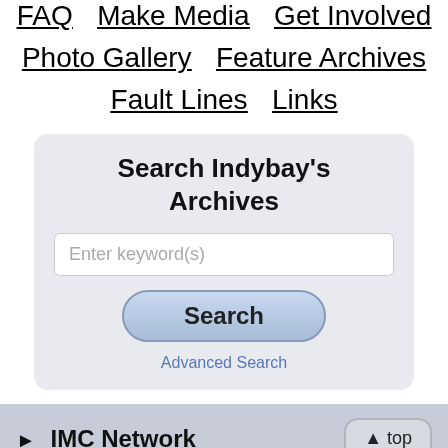FAQ   Make Media   Get Involved
Photo Gallery   Feature Archives
Fault Lines   Links
Search Indybay's Archives
Enter keyword(s)
Search
Advanced Search
► IMC Network
▲ top
© 2000–2022 San Francisco Bay Area Independent Media Center. Unless otherwise stated by the author, all